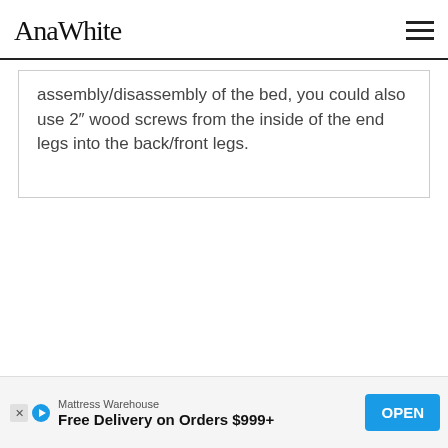AnaWhite
assembly/disassembly of the bed, you could also use 2″ wood screws from the inside of the end legs into the back/front legs.
Mattress Warehouse
Free Delivery on Orders $999+
OPEN